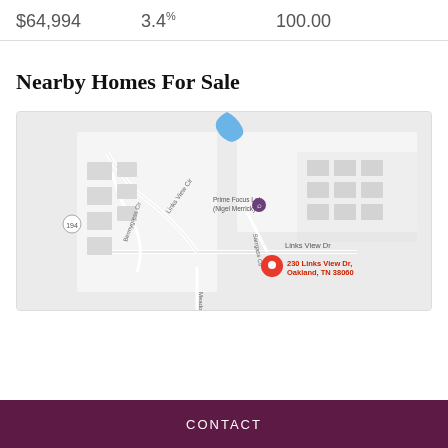$64,994   3.4%   100.00
Nearby Homes For Sale
[Figure (map): Google Maps showing the area around 230 Links View Dr, Oakland, TN 38060. Map shows Prime Focus Lab (Nigel Merrick) marker, street names including Links View Dr, Links View Cir, Bermygress Cir, Sarrgass Cir, Meadows Ln, and a route marker 194. Red location pin at 230 Links View Dr, Oakland, TN 38060.]
CONTACT